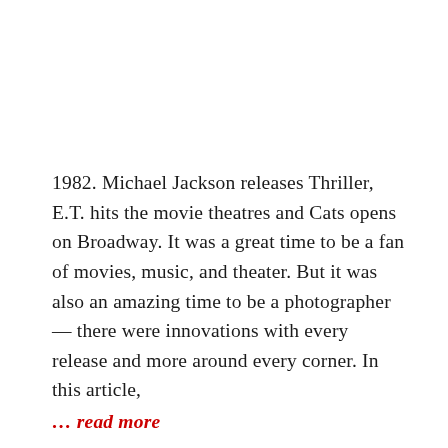1982. Michael Jackson releases Thriller, E.T. hits the movie theatres and Cats opens on Broadway. It was a great time to be a fan of movies, music, and theater. But it was also an amazing time to be a photographer — there were innovations with every release and more around every corner. In this article,
… read more